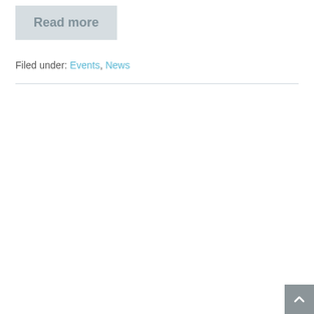Read more
Filed under: Events, News
[Figure (other): Back to top button with upward chevron arrow on dark grey background, positioned at bottom-right corner]